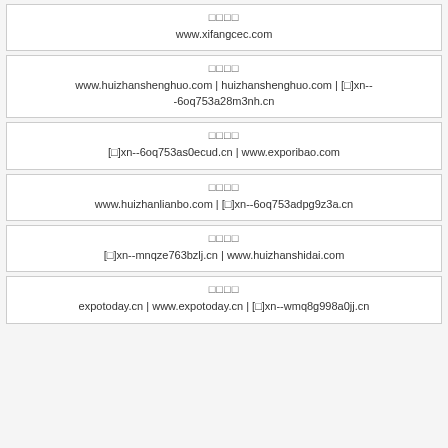| 域名 | URL |
| --- | --- |
| □□□□ | www.xifangcec.com |
| □□□□ | www.huizhanshenghuo.com | huizhanshenghuo.com | [□]xn--6oq753a28m3nh.cn |
| □□□□ | [□]xn--6oq753as0ecud.cn | www.exporibao.com |
| □□□□ | www.huizhanlianbo.com | [□]xn--6oq753adpg9z3a.cn |
| □□□□ | [□]xn--mnqze763bzlj.cn | www.huizhanshidai.com |
| □□□□ | expotoday.cn | www.expotoday.cn | [□]xn--wmq8g998a0jj.cn |